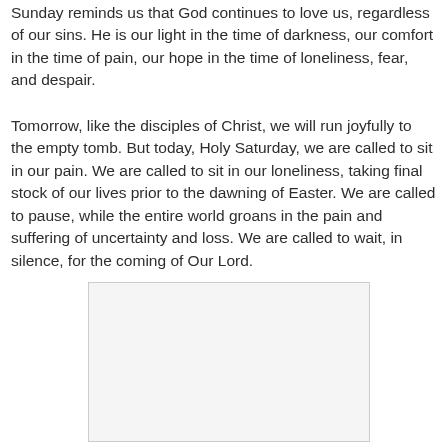Sunday reminds us that God continues to love us, regardless of our sins. He is our light in the time of darkness, our comfort in the time of pain, our hope in the time of loneliness, fear, and despair.
Tomorrow, like the disciples of Christ, we will run joyfully to the empty tomb. But today, Holy Saturday, we are called to sit in our pain. We are called to sit in our loneliness, taking final stock of our lives prior to the dawning of Easter. We are called to pause, while the entire world groans in the pain and suffering of uncertainty and loss. We are called to wait, in silence, for the coming of Our Lord.
[Figure (photo): A blank/white rectangular image placeholder with a light gray background and border.]